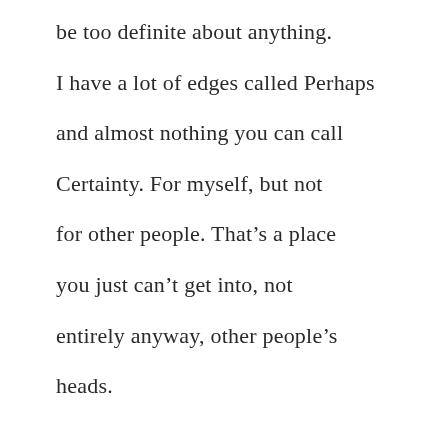be too definite about anything.

I have a lot of edges called Perhaps

and almost nothing you can call

Certainty. For myself, but not

for other people. That’s a place

you just can’t get into, not

entirely anyway, other people’s

heads.